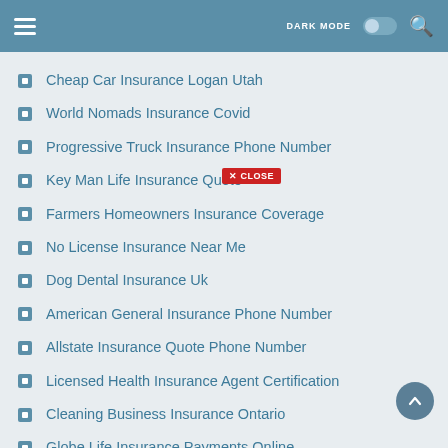DARK MODE [toggle] [search]
Cheap Car Insurance Logan Utah
World Nomads Insurance Covid
Progressive Truck Insurance Phone Number
Key Man Life Insurance Quote
Farmers Homeowners Insurance Coverage
No License Insurance Near Me
Dog Dental Insurance Uk
American General Insurance Phone Number
Allstate Insurance Quote Phone Number
Licensed Health Insurance Agent Certification
Cleaning Business Insurance Ontario
Globe Life Insurance Payments Online